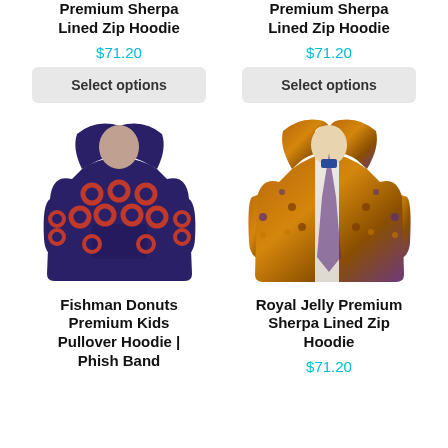Premium Sherpa Lined Zip Hoodie
$71.20
Premium Sherpa Lined Zip Hoodie
$71.20
[Figure (photo): Fishman Donuts Premium Kids Pullover Hoodie with dark navy background and red donut pattern]
[Figure (photo): Royal Jelly Premium Sherpa Lined Zip Hoodie with gold and purple ornate pattern, open front showing white sherpa lining]
Fishman Donuts Premium Kids Pullover Hoodie | Phish Band
Royal Jelly Premium Sherpa Lined Zip Hoodie
$71.20